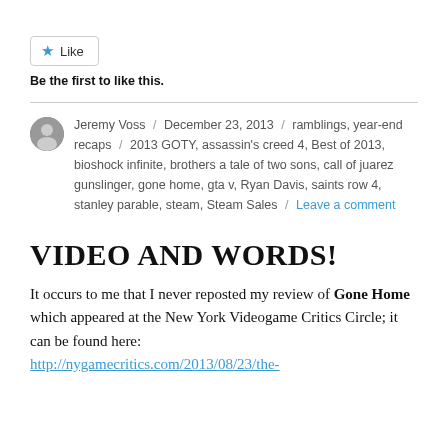[Figure (other): Like button with star icon]
Be the first to like this.
Jeremy Voss / December 23, 2013 / ramblings, year-end recaps / 2013 GOTY, assassin's creed 4, Best of 2013, bioshock infinite, brothers a tale of two sons, call of juarez gunslinger, gone home, gta v, Ryan Davis, saints row 4, stanley parable, steam, Steam Sales / Leave a comment
VIDEO AND WORDS!
It occurs to me that I never reposted my review of Gone Home which appeared at the New York Videogame Critics Circle; it can be found here: http://nygamecritics.com/2013/08/23/the-